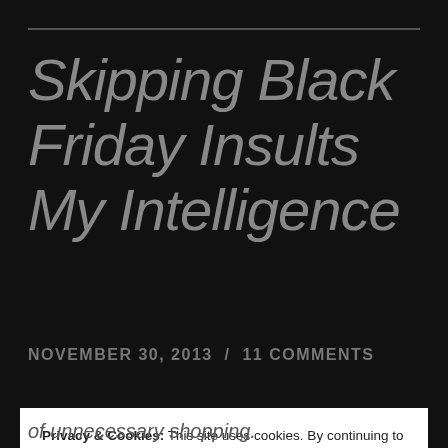Skipping Black Friday Insults My Intelligence
NOVEMBER 30, 2013  /  11 COMMENTS
Privacy & Cookies: This site uses cookies. By continuing to use this website, you agree to their use.
To find out more, including how to control cookies, see here: Cookie Policy
Close and accept
of unnecessary shopping.